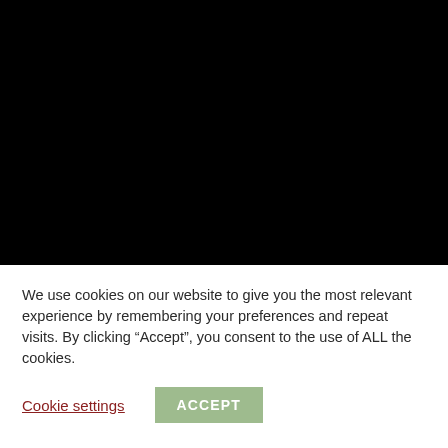[Figure (photo): Black rectangle occupying the upper portion of the page, representing a darkened or blacked-out image area.]
We use cookies on our website to give you the most relevant experience by remembering your preferences and repeat visits. By clicking “Accept”, you consent to the use of ALL the cookies.
Cookie settings
ACCEPT